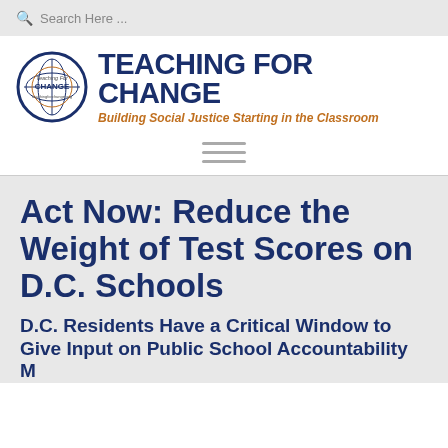Search Here ...
[Figure (logo): Teaching For Change circular logo with globe and text]
TEACHING FOR CHANGE
Building Social Justice Starting in the Classroom
Act Now: Reduce the Weight of Test Scores on D.C. Schools
D.C. Residents Have a Critical Window to Give Input on Public School Accountability M...